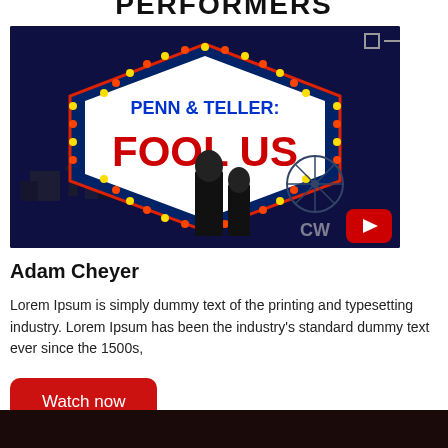PERFORMERS
[Figure (screenshot): Video thumbnail for Penn & Teller: Fool Us TV show on The CW network, showing the show logo in a Las Vegas-style diamond marquee sign with Penn and Teller standing in front of a Las Vegas skyline backdrop. A YouTube play button is visible in the bottom right corner.]
Adam Cheyer
Lorem Ipsum is simply dummy text of the printing and typesetting industry. Lorem Ipsum has been the industry's standard dummy text ever since the 1500s,
Watch now